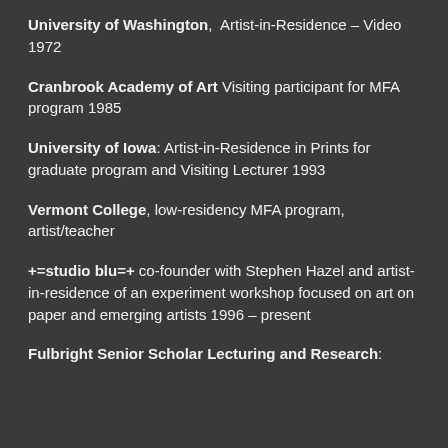University of Washington, Artist-in-Residence – Video 1972
Cranbrook Academy of Art Visiting participant for MFA program 1985
University of Iowa: Artist-in-Residence in Prints for graduate program and Visiting Lecturer 1993
Vermont College, low-residency MFA program, artist/teacher
+=studio blu=+ co-founder with Stephen Hazel and artist-in-residence of an experiment workshop focused on art on paper and emerging artists 1996 – present
Fulbright Senior Scholar Lecturing and Research: